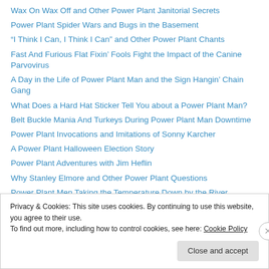Wax On Wax Off and Other Power Plant Janitorial Secrets
Power Plant Spider Wars and Bugs in the Basement
“I Think I Can, I Think I Can” and Other Power Plant Chants
Fast And Furious Flat Fixin’ Fools Fight the Impact of the Canine Parvovirus
A Day in the Life of Power Plant Man and the Sign Hangin’ Chain Gang
What Does a Hard Hat Sticker Tell You about a Power Plant Man?
Belt Buckle Mania And Turkeys During Power Plant Man Downtime
Power Plant Invocations and Imitations of Sonny Karcher
A Power Plant Halloween Election Story
Power Plant Adventures with Jim Heflin
Why Stanley Elmore and Other Power Plant Questions
Power Plant Men Taking the Temperature Down by the River
Privacy & Cookies: This site uses cookies. By continuing to use this website, you agree to their use.
To find out more, including how to control cookies, see here: Cookie Policy
Close and accept